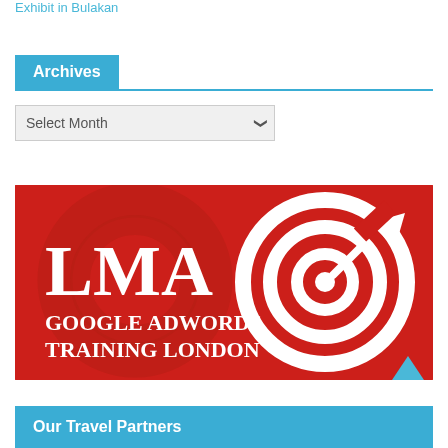Exhibit in Bulakan
Archives
Select Month
[Figure (logo): LMA Google Adwords Training London logo on a red background with a target/bullseye icon and arrow]
Our Travel Partners